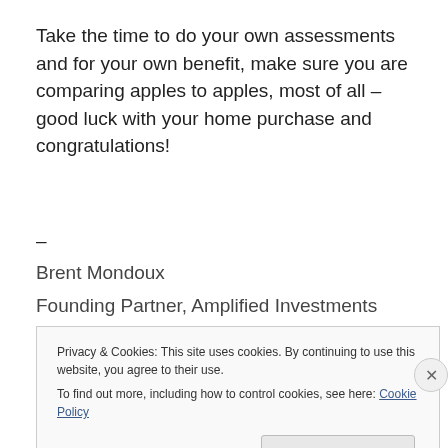Take the time to do your own assessments and for your own benefit, make sure you are comparing apples to apples, most of all – good luck with your home purchase and congratulations!
–
Brent Mondoux
Founding Partner, Amplified Investments
Privacy & Cookies: This site uses cookies. By continuing to use this website, you agree to their use.
To find out more, including how to control cookies, see here: Cookie Policy
Close and accept